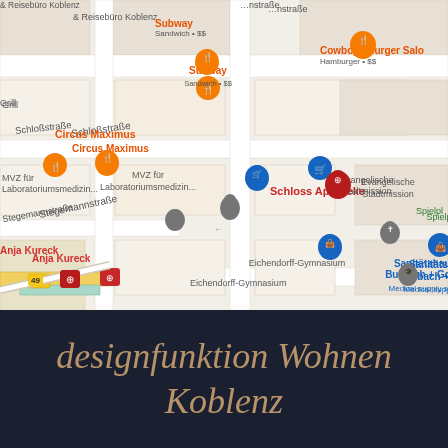[Figure (map): Google Maps screenshot showing streets around Schloss Apotheke in Koblenz, Germany. Visible locations include Subway (Sandwich $$), Cowboys Burger Salon (Hamburger $$), Circus Maximus, Schloss Apotheke, MVZ für Laboratoriumsmedizin, Sanitätshaus Burbach + Goetz (Medical supply store), Evangelische Stadtmission, Anja Kureck, Eichendorff-Gymnasium, Spielpl. Streets visible: Schloßstraße, Stegemannstraße, Casinostraße. Route 49 visible bottom left.]
designfunktion Wohnen Koblenz